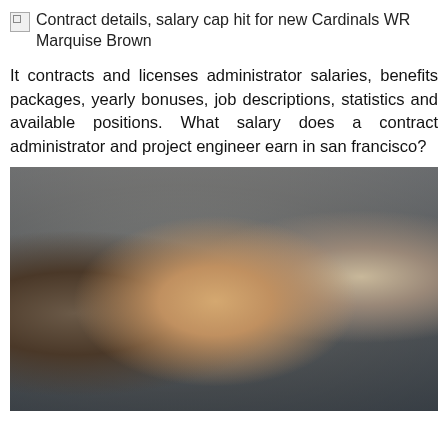Contract details, salary cap hit for new Cardinals WR Marquise Brown
It contracts and licenses administrator salaries, benefits packages, yearly bonuses, job descriptions, statistics and available positions. What salary does a contract administrator and project engineer earn in san francisco?
[Figure (photo): Three people at what appears to be a press conference or official event. In the foreground center is a woman with short brown hair speaking into a microphone, wearing a black blazer with a patterned top. Behind her to the left is a Black woman. To the right is an older man with glasses wearing a dark suit and a gold and white striped tie.]